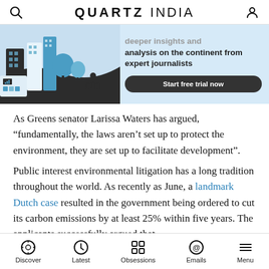QUARTZ INDIA
[Figure (illustration): Quartz India promotional banner with illustrated cityscape in blue and dark tones, showing buildings, trees, and technology elements. Text reads: 'deeper insights and analysis on the continent from expert journalists' with a 'Start free trial now' button.]
As Greens senator Larissa Waters has argued, “fundamentally, the laws aren’t set up to protect the environment, they are set up to facilitate development”.
Public interest environmental litigation has a long tradition throughout the world. As recently as June, a landmark Dutch case resulted in the government being ordered to cut its carbon emissions by at least 25% within five years. The applicants successfully argued that
Discover  Latest  Obsessions  Emails  Menu